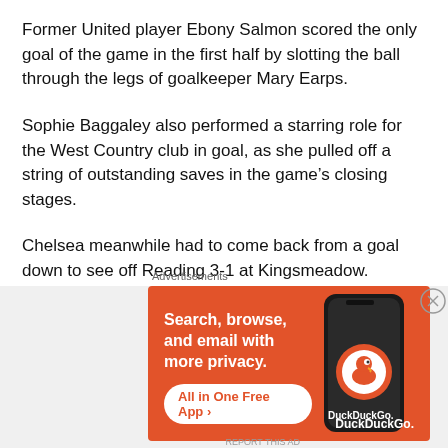Former United player Ebony Salmon scored the only goal of the game in the first half by slotting the ball through the legs of goalkeeper Mary Earps.
Sophie Baggaley also performed a starring role for the West Country club in goal, as she pulled off a string of outstanding saves in the game’s closing stages.
Chelsea meanwhile had to come back from a goal down to see off Reading 3-1 at Kingsmeadow.
England’s most-capped international, Fara Williams had given
[Figure (advertisement): DuckDuckGo advertisement banner: orange background with text 'Search, browse, and email with more privacy. All in One Free App' and phone graphic showing DuckDuckGo logo]